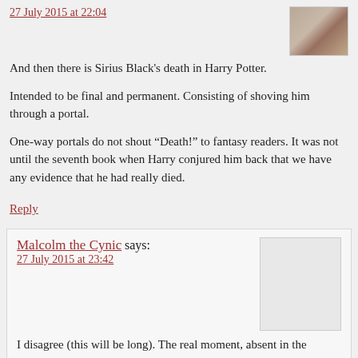27 July 2015 at 22:04
And then there is Sirius Black's death in Harry Potter.
Intended to be final and permanent. Consisting of shoving him through a portal.
One-way portals do not shout “Death!” to fantasy readers. It was not until the seventh book when Harry conjured him back that we have any evidence that he had really died.
Reply
Malcolm the Cynic says:
27 July 2015 at 23:42
I disagree (this will be long). The real moment, absent in the movies (which neatly avoided the problem by having Sirius Avada’d, which we’ve emphasized throughout as being infallible to the point that its failure is so significant an event it is the literal catalyst of the plot of the entire series), is the moment that Harry finds the two way mirror,